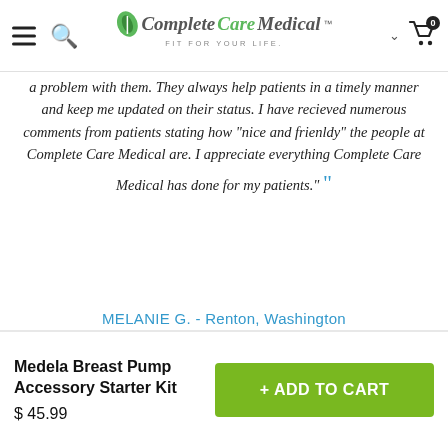Complete Care Medical - FIT FOR YOUR LIFE.
a problem with them. They always help patients in a timely manner and keep me updated on their status. I have recieved numerous comments from patients stating how "nice and frienldy" the people at Complete Care Medical are. I appreciate everything Complete Care Medical has done for my patients."
MELANIE G. - Renton, Washington
Medela Breast Pump Accessory Starter Kit
$ 45.99
+ ADD TO CART